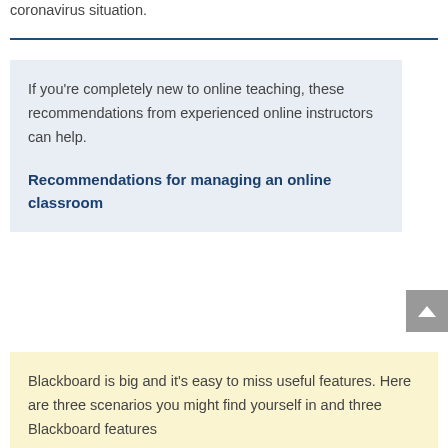coronavirus situation.
If you're completely new to online teaching, these recommendations from experienced online instructors can help.
Recommendations for managing an online classroom
Blackboard is big and it's easy to miss useful features. Here are three scenarios you might find yourself in and three Blackboard features